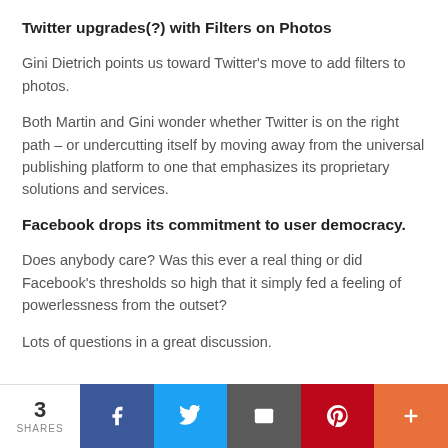Twitter upgrades(?) with Filters on Photos
Gini Dietrich points us toward Twitter's move to add filters to photos.
Both Martin and Gini wonder whether Twitter is on the right path – or undercutting itself by moving away from the universal publishing platform to one that emphasizes its proprietary solutions and services.
Facebook drops its commitment to user democracy.
Does anybody care? Was this ever a real thing or did Facebook's thresholds so high that it simply fed a feeling of powerlessness from the outset?
Lots of questions in a great discussion.
3 SHARES | Facebook | Twitter | Email | Pinterest | More